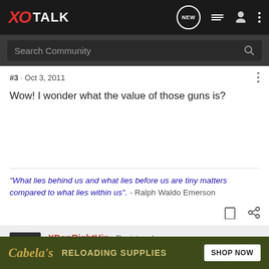XO TALK
Search Community
#3 · Oct 3, 2011
Wow! I wonder what the value of those guns is?
"What lies behind us and what lies before us are tiny matters compared to what lies within us". - Ralph Waldo Emerson
XDonRightHip · Registered
Cabela's RELOADING SUPPLIES SHOP NOW